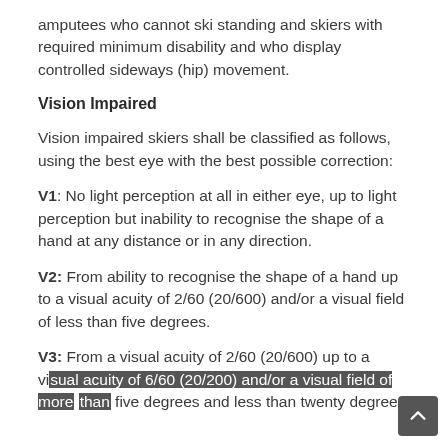amputees who cannot ski standing and skiers with required minimum disability and who display controlled sideways (hip) movement.
Vision Impaired
Vision impaired skiers shall be classified as follows, using the best eye with the best possible correction:
V1: No light perception at all in either eye, up to light perception but inability to recognise the shape of a hand at any distance or in any direction.
V2: From ability to recognise the shape of a hand up to a visual acuity of 2/60 (20/600) and/or a visual field of less than five degrees.
V3: From a visual acuity of 2/60 (20/600) up to a visual acuity of 6/60 (20/200) and/or a visual field of more than five degrees and less than twenty degrees.